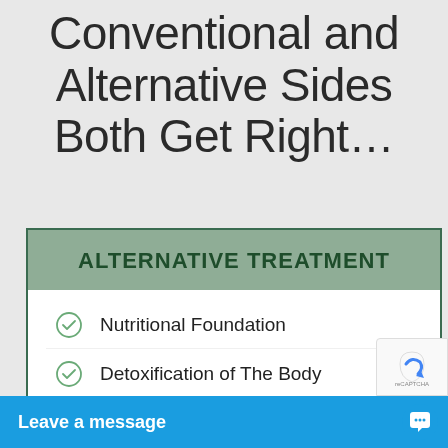Conventional and Alternative Sides Both Get Right…
ALTERNATIVE TREATMENT
Nutritional Foundation
Detoxification of The Body
Restoring The Body's Own Healing Mechanisms